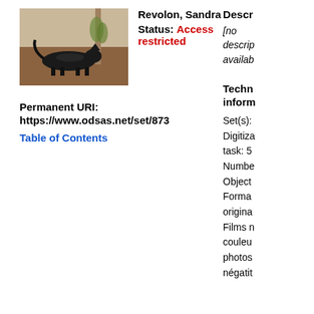[Figure (photo): A small black animal (possibly a cat or dog) lying on a wooden floor near a wall, photographed in color.]
Revolon, Sandra
Status: Access restricted
Permanent URI:
https://www.odsas.net/set/873
Table of Contents
Descr
[no descrip availab
Techn inform
Set(s):
Digitiza task: 5
Numbe
Object
Forma origina
Films n couleu
photos négatit